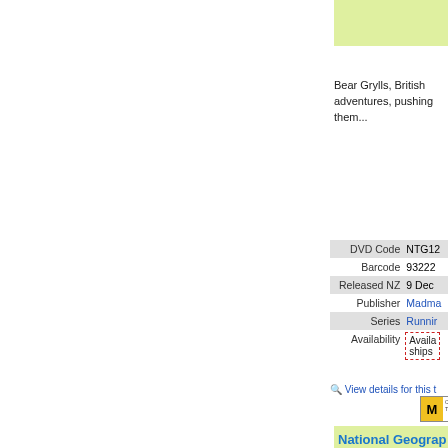[Figure (other): Light green background box at top right]
Bear Grylls, British adve... adventures, pushing the...
| Field | Value |
| --- | --- |
| DVD Code | NTG12... |
| Barcode | 932222... |
| Released NZ | 9 Dec ... |
| Publisher | Madma... |
| Series | Runnin... |
| Availability | Availa... ships... |
View details for this t...
[Figure (other): Rating label showing M classification, DVD logo, and FS text]
[Figure (other): Light green background box for National Geographic section]
National Geograp... Boxset Season 1
High-tech superguns. We... domination, the Nazis bu... military hardware and ma...